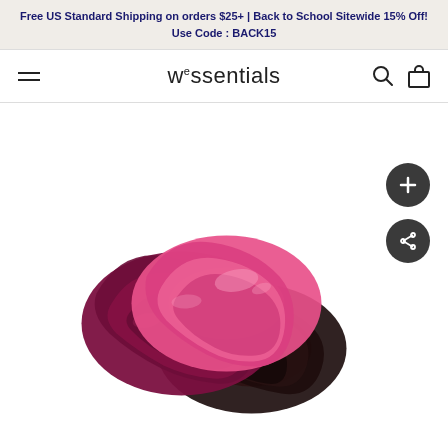Free US Standard Shipping on orders $25+ | Back to School Sitewide 15% Off! Use Code : BACK15
wessentials
[Figure (photo): Three satin scrunchies in dark magenta/burgundy, hot pink, and black colors, overlapping each other on a white background. Two circular action buttons (plus and share) on the right side.]